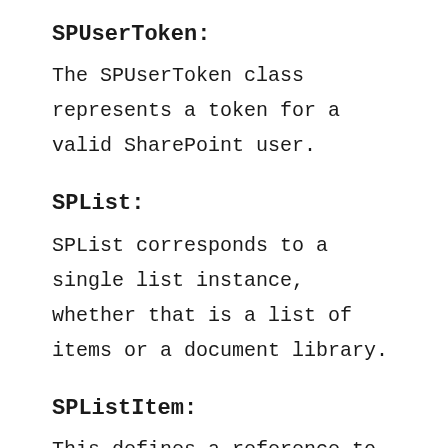SPUserToken:
The SPUserToken class represents a token for a valid SharePoint user.
SPList:
SPList corresponds to a single list instance, whether that is a list of items or a document library.
SPListItem:
This defines a reference to a specific item of a list.